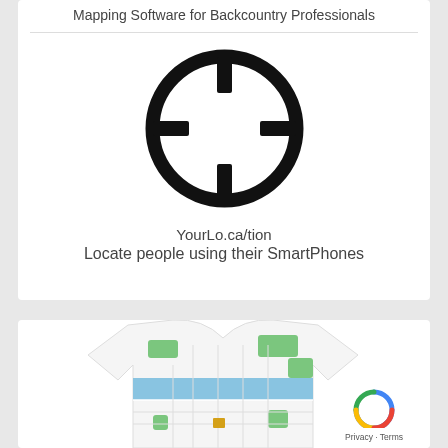Mapping Software for Backcountry Professionals
[Figure (logo): Circular crosshair/target icon — a circle with four inward-pointing tick marks at top, bottom, left, and right]
YourLo.ca/tion
Locate people using their SmartPhones
[Figure (photo): A t-shirt printed with a colorful city street map featuring green parks, blue water, and detailed road network]